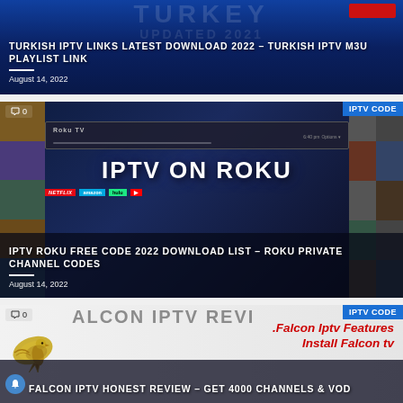[Figure (screenshot): Turkish IPTV article card with dark blue background showing Turkey imagery]
TURKISH IPTV LINKS LATEST DOWNLOAD 2022 – TURKISH IPTV M3U PLAYLIST LINK
August 14, 2022
[Figure (screenshot): IPTV on Roku article card showing Roku TV interface with streaming service logos]
IPTV ROKU FREE CODE 2022 DOWNLOAD LIST – ROKU PRIVATE CHANNEL CODES
August 14, 2022
[Figure (screenshot): Falcon IPTV article card showing Falcon IPTV logo with falcon bird and red promotional text]
FALCON IPTV HONEST REVIEW – GET 4000 CHANNELS & VOD